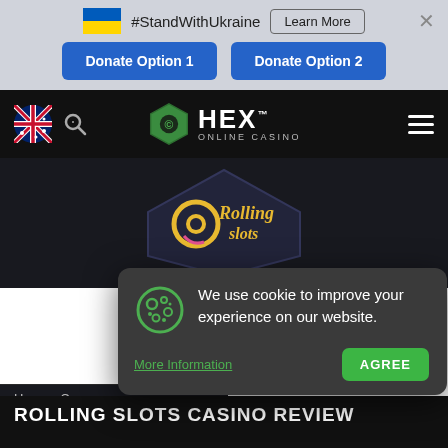#StandWithUkraine  Learn More  ×  Donate Option 1  Donate Option 2
[Figure (logo): HEX Online Casino logo with green hexagon icon, white text HEX and ONLINE CASINO subtitle]
[Figure (logo): Rolling Slots casino logo on dark hexagon background]
We use cookie to improve your experience on our website.
More Information   AGREE
Home › Ca...
ROLLING SLOTS CASINO REVIEW